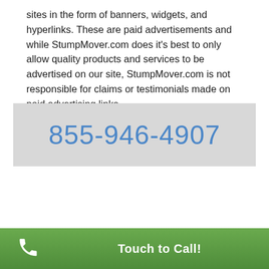sites in the form of banners, widgets, and hyperlinks. These are paid advertisements and while StumpMover.com does it's best to only allow quality products and services to be advertised on our site, StumpMover.com is not responsible for claims or testimonials made on paid advertising links.
855-946-4907
Touch to Call!